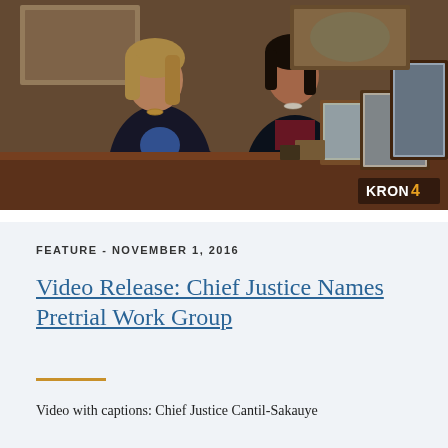[Figure (photo): Two women in dark business attire standing together in an office setting with framed photos and artwork visible on a wooden desk/credenza. KRON 4 news logo visible in lower right corner of the video frame.]
FEATURE - NOVEMBER 1, 2016
Video Release: Chief Justice Names Pretrial Work Group
Video with captions: Chief Justice Cantil-Sakauye